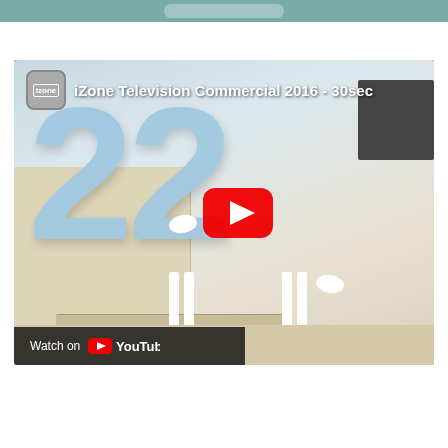[Figure (screenshot): A YouTube video embed showing the iZone Television Commercial 2016 - 30sec. The thumbnail shows a kitchen scene with large light-blue '22' numbers and two people (a woman and a man in business attire). A red YouTube play button overlay is visible in the center. A 'Watch on YouTube' bar appears at the bottom-left of the video. Above the video is a teal/gray top navigation bar with a rounded rectangle button partially visible.]